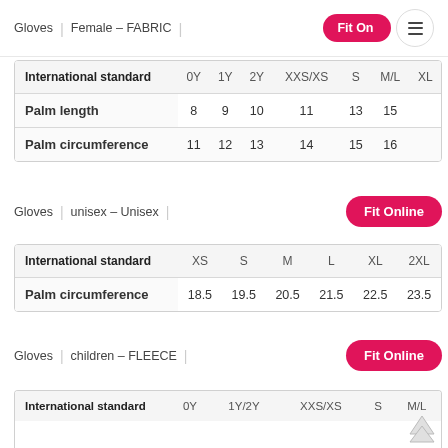Gloves | Female – FABRIC
| International standard | 0Y | 1Y | 2Y | XXS/XS | S | M/L | XL |
| --- | --- | --- | --- | --- | --- | --- | --- |
| Palm length | 8 | 9 | 10 | 11 | 13 | 15 |  |
| Palm circumference | 11 | 12 | 13 | 14 | 15 | 16 |  |
Gloves | unisex – Unisex
| International standard | XS | S | M | L | XL | 2XL |
| --- | --- | --- | --- | --- | --- | --- |
| Palm circumference | 18.5 | 19.5 | 20.5 | 21.5 | 22.5 | 23.5 |
Gloves | children – FLEECE
| International standard | 0Y | 1Y/2Y | XXS/XS | S | M/L |
| --- | --- | --- | --- | --- | --- |